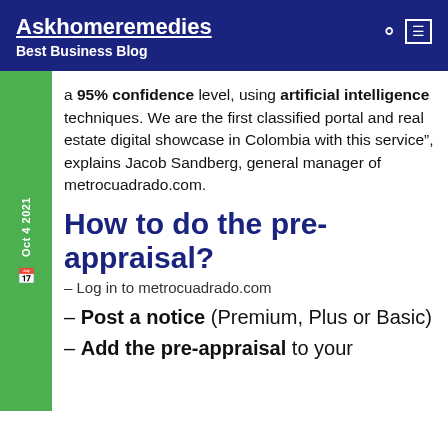Askhomeremedies
Best Business Blog
a 95% confidence level, using artificial intelligence techniques. We are the first classified portal and real estate digital showcase in Colombia with this service”, explains Jacob Sandberg, general manager of metrocuadrado.com.
How to do the pre-appraisal?
– Log in to metrocuadrado.com
– Post a notice (Premium, Plus or Basic)
– Add the pre-appraisal to your